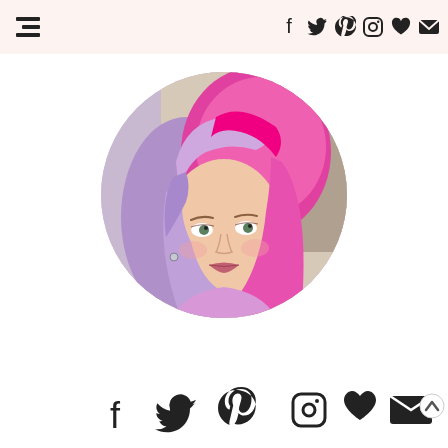Navigation bar with hamburger menu and social icons (Facebook, Twitter, Pinterest, Instagram, Heart, Mail)
[Figure (photo): Circular profile photo of a young woman with pink and lavender/purple dip-dyed hair, wearing a light purple top, smiling at the camera]
[Figure (infographic): Bottom row of social media icons: Facebook, Twitter, Pinterest, Instagram, Heart, Mail; chevron-up arrow at bottom right]